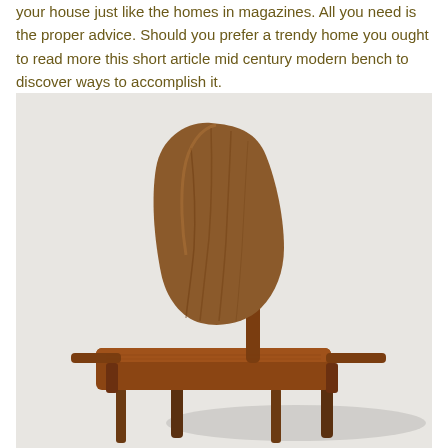your house just like the homes in magazines. All you need is the proper advice. Should you prefer a trendy home you ought to read more this short article mid century modern bench to discover ways to accomplish it.
[Figure (photo): A mid century modern wooden chair/bench photographed against a light grey/white background. The piece features a curved sculptural backrest and a flat seat supported by wooden arms and legs, crafted from warm brown walnut wood.]